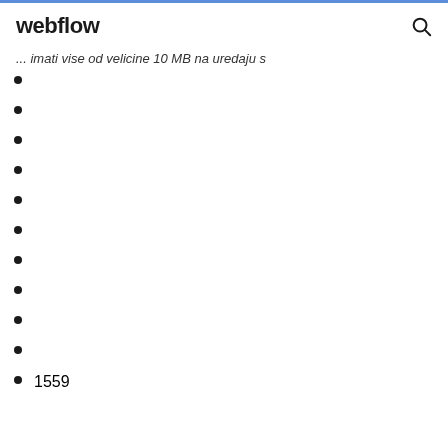webflow
... imati vise od velicine 10 MB na uredaju s
1559